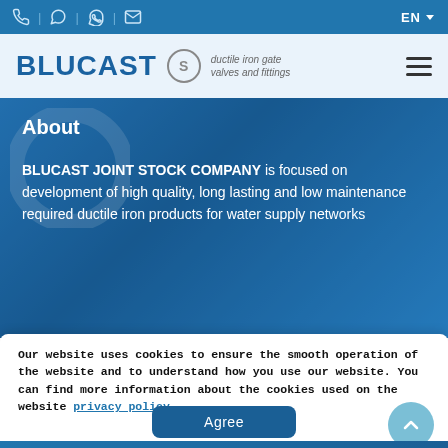EN | Blucast — ductile iron gate valves and fittings
[Figure (logo): BLUCAST logo with circle S emblem and tagline 'ductile iron gate valves and fittings']
About
BLUCAST JOINT STOCK COMPANY is focused on development of high quality, long lasting and low maintenance required ductile iron products for water supply networks
Our website uses cookies to ensure the smooth operation of the website and to understand how you use our website. You can find more information about the cookies used on the website privacy policy